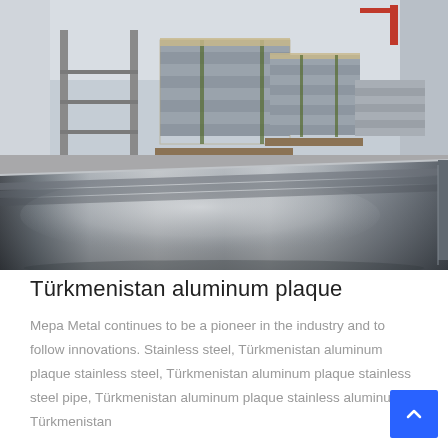[Figure (photo): Photo of stacked metal/aluminum sheets in a warehouse. Background shows bundled metal sheet stacks on pallets. Foreground shows a large polished reflective stainless steel or aluminum sheet with a mirror-like surface.]
Türkmenistan aluminum plaque
Mepa Metal continues to be a pioneer in the industry and to follow innovations. Stainless steel, Türkmenistan aluminum plaque stainless steel, Türkmenistan aluminum plaque stainless steel pipe, Türkmenistan aluminum plaque stainless aluminum, Türkmenistan